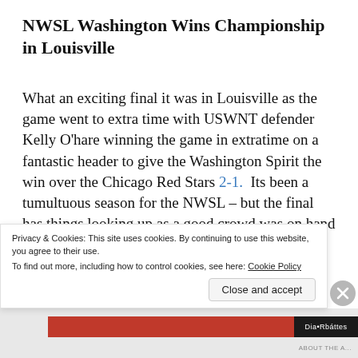NWSL Washington Wins Championship in Louisville
What an exciting final it was in Louisville as the game went to extra time with USWNT defender Kelly O'hare winning the game in extratime on a fantastic header to give the Washington Spirit the win over the Chicago Red Stars 2-1.  Its been a tumultuous season for the NWSL – but the final has things looking up as a good crowd was on hand and a CBS audience looked on
Privacy & Cookies: This site uses cookies. By continuing to use this website, you agree to their use.
 To find out more, including how to control cookies, see here: Cookie Policy
Close and accept